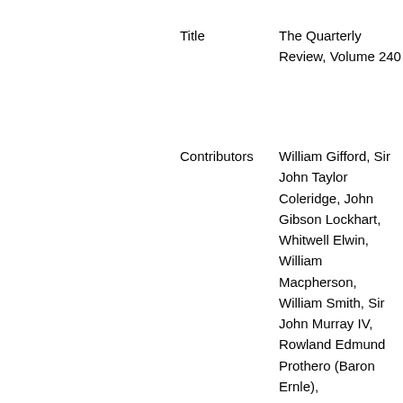Title
The Quarterly Review, Volume 240
Contributors
William Gifford, Sir John Taylor Coleridge, John Gibson Lockhart, Whitwell Elwin, William Macpherson, William Smith, Sir John Murray IV, Rowland Edmund Prothero (Baron Ernle),